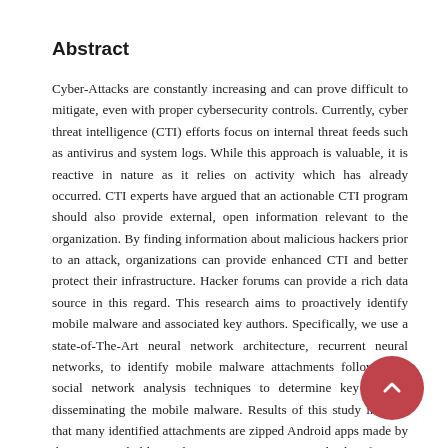Abstract
Cyber-Attacks are constantly increasing and can prove difficult to mitigate, even with proper cybersecurity controls. Currently, cyber threat intelligence (CTI) efforts focus on internal threat feeds such as antivirus and system logs. While this approach is valuable, it is reactive in nature as it relies on activity which has already occurred. CTI experts have argued that an actionable CTI program should also provide external, open information relevant to the organization. By finding information about malicious hackers prior to an attack, organizations can provide enhanced CTI and better protect their infrastructure. Hacker forums can provide a rich data source in this regard. This research aims to proactively identify mobile malware and associated key authors. Specifically, we use a state-of-The-Art neural network architecture, recurrent neural networks, to identify mobile malware attachments followed by social network analysis techniques to determine key hackers disseminating the mobile malware. Results of this study indicate that many identified attachments are zipped Android apps made by threat actors holding administrative positions in hacker forums. Our identified